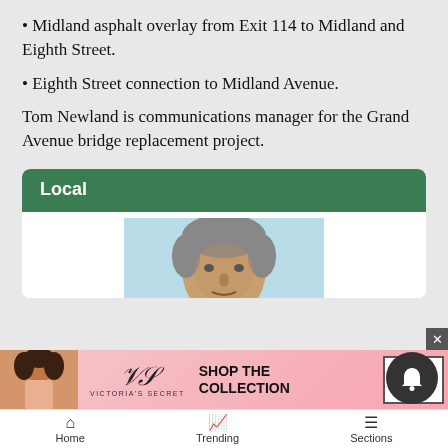Midland asphalt overlay from Exit 114 to Midland and Eighth Street.
Eighth Street connection to Midland Avenue.
Tom Newland is communications manager for the Grand Avenue bridge replacement project.
Local
[Figure (photo): Head and shoulders photo of an older man with grey hair against a light blue background.]
[Figure (photo): Victoria's Secret advertisement banner with a woman model, VS logo, SHOP THE COLLECTION text, and SHOP NOW button.]